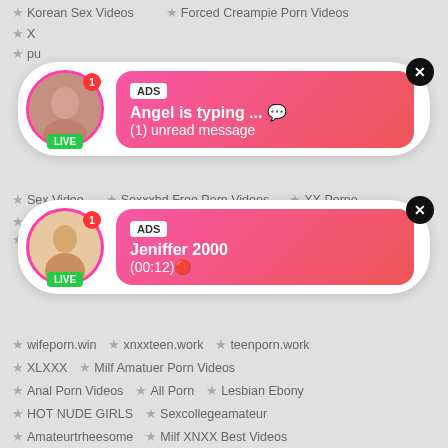[Figure (screenshot): Website listing page with two ad overlay cards. Top row shows Korean Sex Videos and Forced Creampie Porn Videos links. First ad card: avatar with LIVE badge, ADS label, 'Angel is typing ... (1) unread message'. Second ad card: avatar with LIVE badge, ADS label, 'Jeniffer 2000 (00:12)'. Background links include Sex Video, Sexxxhd Free Porn Videos, XX Porno, wifeporn.win, xnxxteen.work, teenporn.work, XLXXX, Milf Amatuer Porn Videos, Anal Porn Videos, All Porn, Lesbian Ebony, HOT NUDE GIRLS, Sexcollegeamateur, Amateurtrheesome, Milf XNXX Best Videos, Porn Foot, REALCUCKOLDPORN.COM]